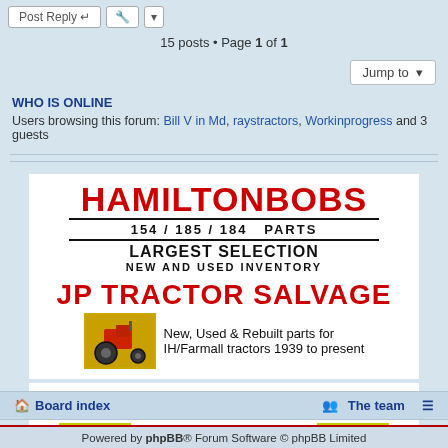Post Reply | [tool] | [dropdown]
15 posts • Page 1 of 1
Jump to
WHO IS ONLINE
Users browsing this forum: Bill V in Md, raystractors, Workinprogress and 3 guests
[Figure (illustration): HamiltonBobs 154/185/184 Parts advertisement - Largest Selection New and Used Inventory, JP Tractor Salvage - New, Used & Rebuilt parts for IH/Farmall tractors 1939 to present]
[Figure (illustration): TM Tractor Parts - Specializing in McCormick Farmall Cub International Cub and International Lo-Boy, with tractor images on yellow background]
Board index | The team
Powered by phpBB® Forum Software © phpBB Limited